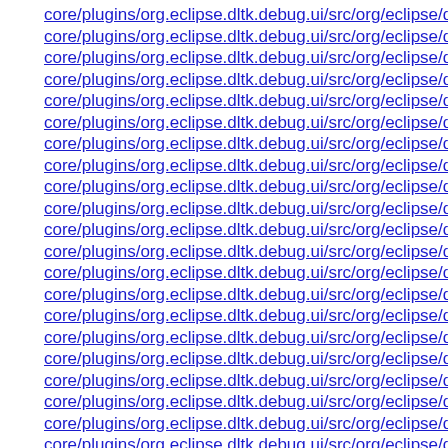core/plugins/org.eclipse.dltk.debug.ui/src/org/eclipse/dltk/intern
core/plugins/org.eclipse.dltk.debug.ui/src/org/eclipse/dltk/intern
core/plugins/org.eclipse.dltk.debug.ui/src/org/eclipse/dltk/intern
core/plugins/org.eclipse.dltk.debug.ui/src/org/eclipse/dltk/intern
core/plugins/org.eclipse.dltk.debug.ui/src/org/eclipse/dltk/intern
core/plugins/org.eclipse.dltk.debug.ui/src/org/eclipse/dltk/intern
core/plugins/org.eclipse.dltk.debug.ui/src/org/eclipse/dltk/intern
core/plugins/org.eclipse.dltk.debug.ui/src/org/eclipse/dltk/intern
core/plugins/org.eclipse.dltk.debug.ui/src/org/eclipse/dltk/intern
core/plugins/org.eclipse.dltk.debug.ui/src/org/eclipse/dltk/intern
core/plugins/org.eclipse.dltk.debug.ui/src/org/eclipse/dltk/intern
core/plugins/org.eclipse.dltk.debug.ui/src/org/eclipse/dltk/intern
core/plugins/org.eclipse.dltk.debug.ui/src/org/eclipse/dltk/intern
core/plugins/org.eclipse.dltk.debug.ui/src/org/eclipse/dltk/intern
core/plugins/org.eclipse.dltk.debug.ui/src/org/eclipse/dltk/intern
core/plugins/org.eclipse.dltk.debug.ui/src/org/eclipse/dltk/intern
core/plugins/org.eclipse.dltk.debug.ui/src/org/eclipse/dltk/intern
core/plugins/org.eclipse.dltk.debug.ui/src/org/eclipse/dltk/intern
core/plugins/org.eclipse.dltk.debug.ui/src/org/eclipse/dltk/intern
core/plugins/org.eclipse.dltk.debug.ui/src/org/eclipse/dltk/intern
core/plugins/org.eclipse.dltk.debug.ui/src/org/eclipse/dltk/intern